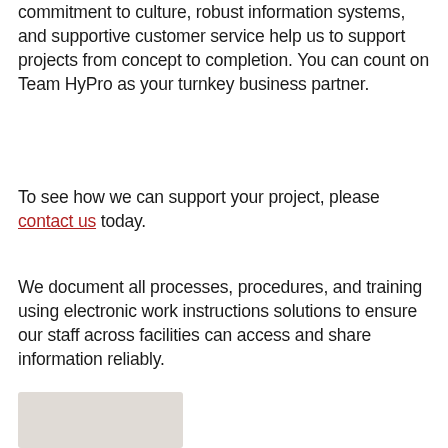commitment to culture, robust information systems, and supportive customer service help us to support projects from concept to completion. You can count on Team HyPro as your turnkey business partner.
To see how we can support your project, please contact us today.
We document all processes, procedures, and training using electronic work instructions solutions to ensure our staff across facilities can access and share information reliably.
[Figure (photo): Partially visible image at bottom left of page]